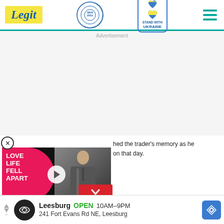Legit | WAN IFRA Best News Website in Africa 2021 | Stand with Ukraine
Advertisement
[Figure (screenshot): Video thumbnail showing a man in a suit with pink blob overlay text reading LOVE LIFE FELL APART and a play button in center]
hed the trader's memory as he on that day.
[Figure (screenshot): Bottom advertisement banner: Leesburg OPEN 10AM-9PM, 241 Fort Evans Rd NE, Leesburg, with navigation arrow icon]